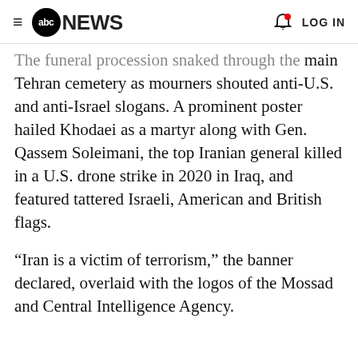abc NEWS  LOG IN
The funeral procession snaked through the main Tehran cemetery as mourners shouted anti-U.S. and anti-Israel slogans. A prominent poster hailed Khodaei as a martyr along with Gen. Qassem Soleimani, the top Iranian general killed in a U.S. drone strike in 2020 in Iraq, and featured tattered Israeli, American and British flags.
“Iran is a victim of terrorism,” the banner declared, overlaid with the logos of the Mossad and Central Intelligence Agency.